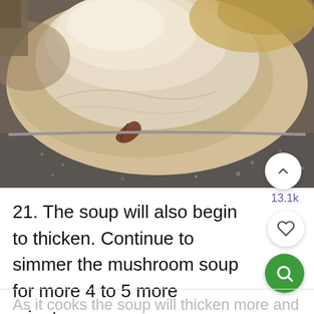[Figure (photo): Close-up photo of mushroom soup simmering in a large dark speckled pot, showing a thick creamy beige-colored soup with a bay leaf visible on the surface, shot from above at an angle.]
21. The soup will also begin to thicken. Continue to simmer the mushroom soup for more 4 to 5 more minutes.
As it cooks the soup will thicken more and